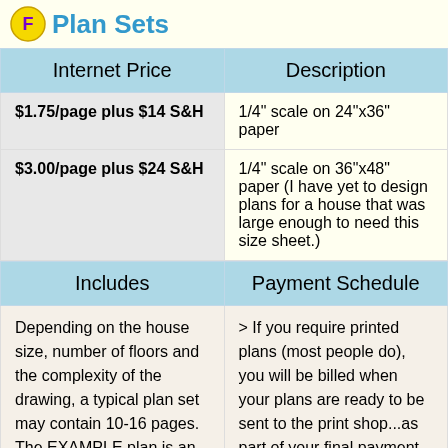Plan Sets
| Internet Price | Description |
| --- | --- |
| $1.75/page plus $14 S&H | 1/4" scale on 24"x36" paper |
| $3.00/page plus $24 S&H | 1/4" scale on 36"x48" paper (I have yet to design plans for a house that was large enough to need this size sheet.) |
| Includes | Payment Schedule |
| --- | --- |
| Depending on the house size, number of floors and the complexity of the drawing, a typical plan set may contain 10-16 pages. The EXAMPLE plan is an 'F' Plan Package | > If you require printed plans (most people do), you will be billed when your plans are ready to be sent to the print shop...as part of your final payment. |